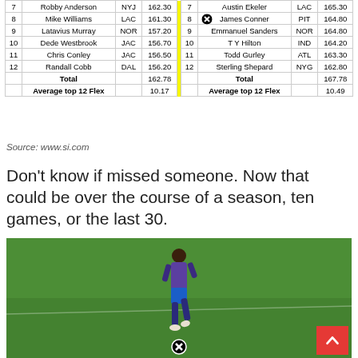| # | Name | Team | Score |  | # | Name | Team | Score |
| --- | --- | --- | --- | --- | --- | --- | --- | --- |
| 7 | Robby Anderson | NYJ | 162.30 |  | 7 | Austin Ekeler | LAC | 165.30 |
| 8 | Mike Williams | LAC | 161.30 |  | 8 | James Conner | PIT | 164.80 |
| 9 | Latavius Murray | NOR | 157.20 |  | 9 | Emmanuel Sanders | NOR | 164.80 |
| 10 | Dede Westbrook | JAC | 156.70 |  | 10 | T Y Hilton | IND | 164.20 |
| 11 | Chris Conley | JAC | 156.50 |  | 11 | Todd Gurley | ATL | 163.30 |
| 12 | Randall Cobb | DAL | 156.20 |  | 12 | Sterling Shepard | NYG | 162.80 |
|  | Total |  | 162.78 |  |  | Total |  | 167.78 |
|  | Average top 12 Flex |  | 10.17 |  |  | Average top 12 Flex |  | 10.49 |
Source: www.si.com
Don't know if missed someone. Now that could be over the course of a season, ten games, or the last 30.
[Figure (photo): Soccer player in blue and purple uniform running on a green field]